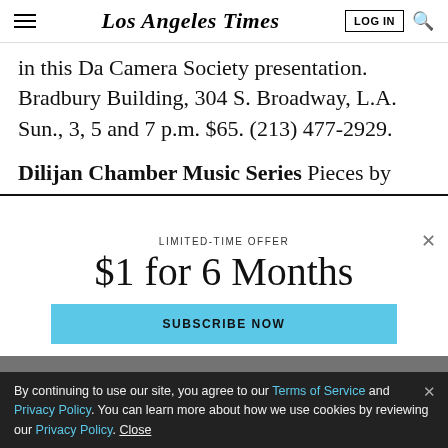Los Angeles Times — LOG IN [search icon]
in this Da Camera Society presentation. Bradbury Building, 304 S. Broadway, L.A. Sun., 3, 5 and 7 p.m. $65. (213) 477-2929.
Dilijan Chamber Music Series Pieces by
[Figure (screenshot): Subscription modal overlay: LIMITED-TIME OFFER heading, $1 for 6 Months large text, SUBSCRIBE NOW blue button]
By continuing to use our site, you agree to our Terms of Service and Privacy Policy. You can learn more about how we use cookies by reviewing our Privacy Policy. Close